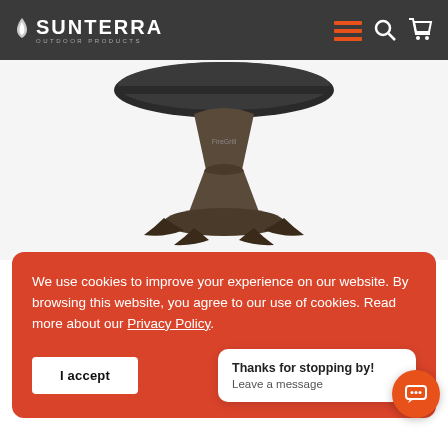SUNTERRA OUTDOOR PRODUCTS — navigation bar with logo, hamburger menu, search, and cart icons
[Figure (photo): Sunterra outdoor grill/fire pit product on a pedestal base, dark bronze color, viewed from the front against a white background]
We use cookies to improve your experience on our website. By browsing this website, you agree to our use of cookies. Read more about our Privacy Policy.
I accept
Thanks for stopping by! Leave a message